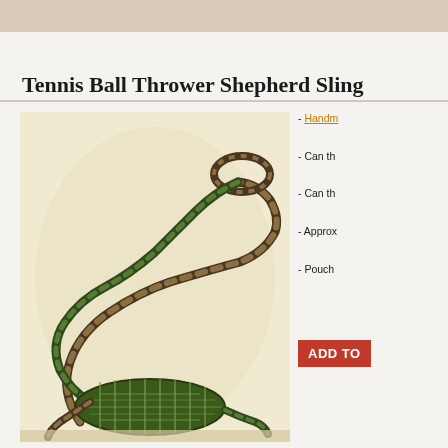Tennis Ball Thrower Shepherd Sling
[Figure (photo): A handmade braided paracord shepherd sling for throwing tennis balls, shown in an S-curve shape with a woven pouch at the bottom and a finger loop at the top, in dark green and tan colors]
- Handm...
- Can th...
- Can th...
- Approx...
- Pouch...
ADD TO...